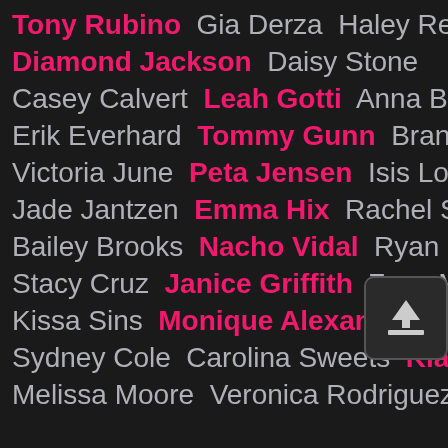Tony Rubino  Gia Derza  Haley Reed
Diamond Jackson  Daisy Stone
Casey Calvert  Leah Gotti  Anna Bell Peaks
Erik Everhard  Tommy Gunn  Brandi Bae
Victoria June  Peta Jensen  Isis Love
Jade Jantzen  Emma Hix  Rachel Starr
Bailey Brooks  Nacho Vidal  Ryan Madison
Stacy Cruz  Janice Griffith  Zoey Monroe
Kissa Sins  Monique Alexander
Sydney Cole  Carolina Sweets  Kiara Mia
Melissa Moore  Veronica Rodriguez